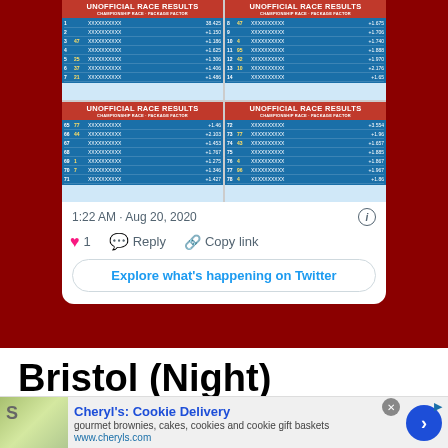[Figure (screenshot): Four 'Unofficial Race Results' scoreboards in a 2x2 grid showing NASCAR race standings with driver numbers, names and lap time gaps]
1:22 AM · Aug 20, 2020
1   Reply   Copy link
Explore what's happening on Twitter
Bristol (Night)
[Figure (infographic): Advertisement for Cheryl's Cookie Delivery: gourmet brownies, cakes, cookies and cookie gift baskets. www.cheryls.com]